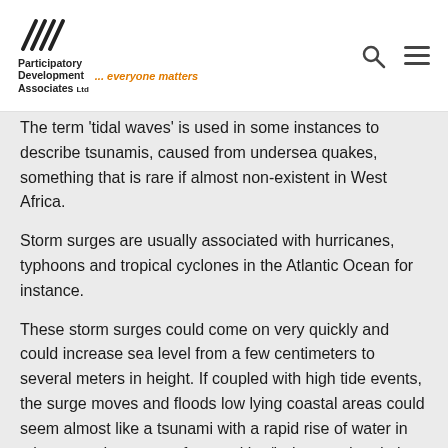Participatory Development Associates Ltd ... everyone matters
The term 'tidal waves' is used in some instances to describe tsunamis, caused from undersea quakes, something that is rare if almost non-existent in West Africa.
Storm surges are usually associated with hurricanes, typhoons and tropical cyclones in the Atlantic Ocean for instance.
These storm surges could come on very quickly and could increase sea level from a few centimeters to several meters in height. If coupled with high tide events, the surge moves and floods low lying coastal areas could seem almost like a tsunami with a rapid rise of water in minutes and currents of several km/hr in speed and also very dangerous for any person or property caught in their